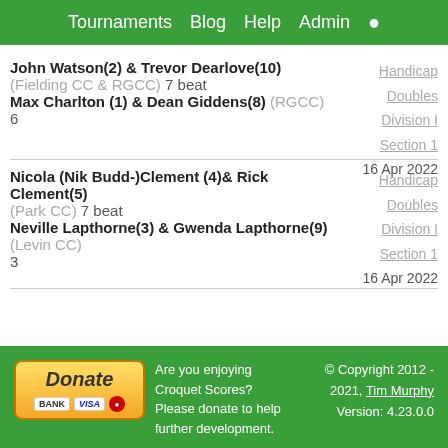Tournaments  Blog  Help  Admin
John Watson(2) & Trevor Dearlove(10) (Fielding CC & RGCC) 7 beat Max Charlton (1) & Dean Giddens(8) (RGCC) 6 | Handicap Doubles Division I Section 1 16 Apr 2022
Nicola (Nik Budd-)Clement (4)& Rick Clement(5) (Park CC) 7 beat Neville Lapthorne(3) & Gwenda Lapthorne(9) (Levin CC) 3 | Handicap Doubles Division I Section 1 16 Apr 2022
Donate | Are you enjoying Croquet Scores? Please donate to help further development. | © Copyright 2012 - 2021, Tim Murphy Version: 4.23.0.0